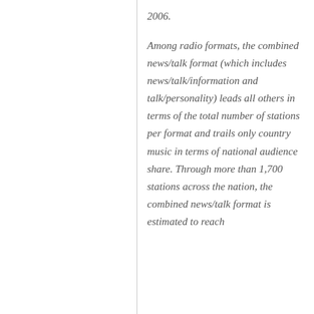2006.
Among radio formats, the combined news/talk format (which includes news/talk/information and talk/personality) leads all others in terms of the total number of stations per format and trails only country music in terms of national audience share. Through more than 1,700 stations across the nation, the combined news/talk format is estimated to reach